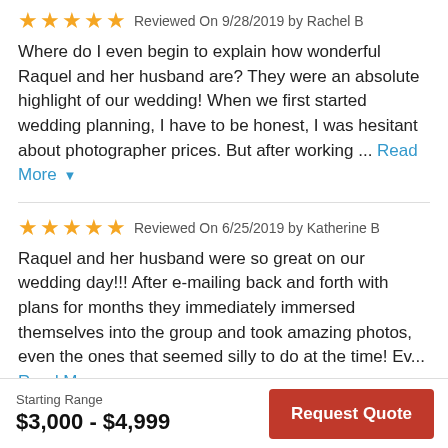Reviewed On 9/28/2019 by Rachel B
Where do I even begin to explain how wonderful Raquel and her husband are? They were an absolute highlight of our wedding! When we first started wedding planning, I have to be honest, I was hesitant about photographer prices. But after working ... Read More
Reviewed On 6/25/2019 by Katherine B
Raquel and her husband were so great on our wedding day!!! After e-mailing back and forth with plans for months they immediately immersed themselves into the group and took amazing photos, even the ones that seemed silly to do at the time! Ev... Read More
Starting Range
$3,000 - $4,999
Request Quote